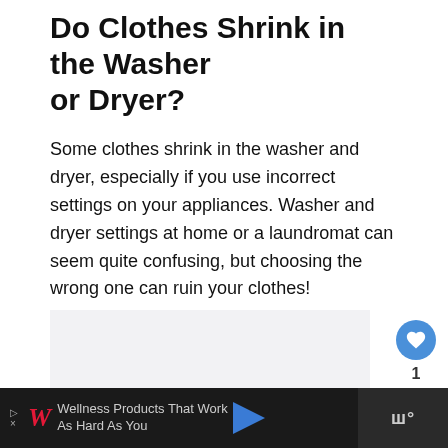Do Clothes Shrink in the Washer or Dryer?
Some clothes shrink in the washer and dryer, especially if you use incorrect settings on your appliances. Washer and dryer settings at home or a laundromat can seem quite confusing, but choosing the wrong one can ruin your clothes!
[Figure (other): Gray placeholder image area for article content]
[Figure (other): Side action buttons: heart/like button (blue circle), count of 1, and share button]
[Figure (other): Advertisement bar at bottom: Walgreens ad reading 'Wellness Products That Work As Hard As You' with navigation arrow icon and right side showing 'W' logo]